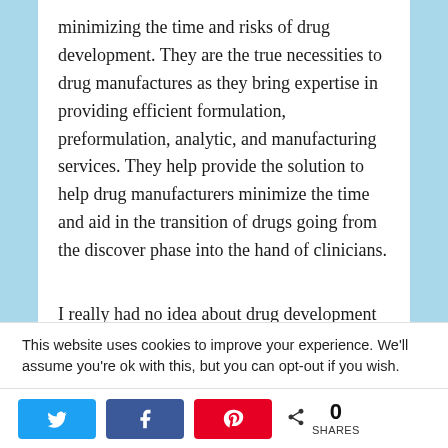minimizing the time and risks of drug development. They are the true necessities to drug manufactures as they bring expertise in providing efficient formulation, preformulation, analytic, and manufacturing services. They help provide the solution to help drug manufacturers minimize the time and aid in the transition of drugs going from the discover phase into the hand of clinicians.
I really had no idea about drug development services till I did some research on bing. It
This website uses cookies to improve your experience. We'll assume you're ok with this, but you can opt-out if you wish.
0 SHARES